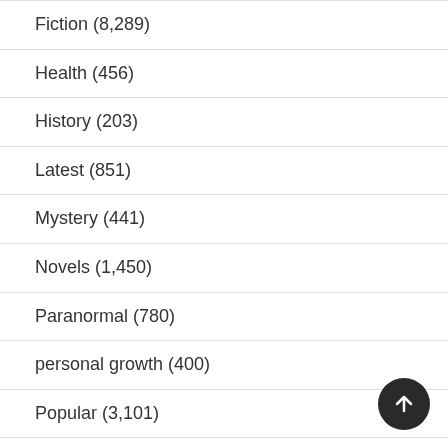Fiction (8,289)
Health (456)
History (203)
Latest (851)
Mystery (441)
Novels (1,450)
Paranormal (780)
personal growth (400)
Popular (3,101)
Recommend (187)
Romance (6,619)
science fiction (1,427)